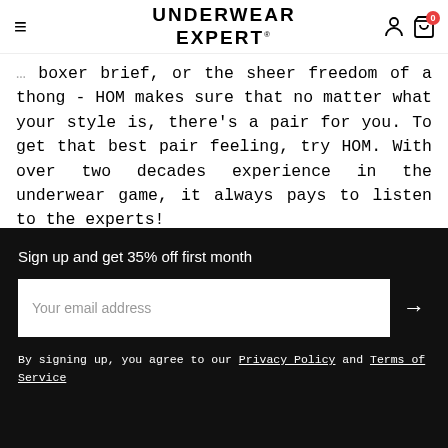UNDERWEAR EXPERT
boxer brief, or the sheer freedom of a thong - HOM makes sure that no matter what your style is, there's a pair for you. To get that best pair feeling, try HOM. With over two decades experience in the underwear game, it always pays to listen to the experts!
Sign up and get 35% off first month
Your email address
By signing up, you agree to our Privacy Policy and Terms of Service